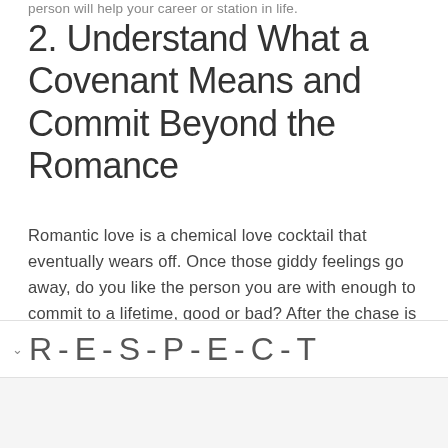person will help your career or station in life.
2. Understand What a Covenant Means and Commit Beyond the Romance
Romantic love is a chemical love cocktail that eventually wears off. Once those giddy feelings go away, do you like the person you are with enough to commit to a lifetime, good or bad? After the chase is over, is this a person you really like and want to be with for the rest of your life. Give the relationship enough time to allow the love cocktail to wear off.
R-E-S-P-E-C-T